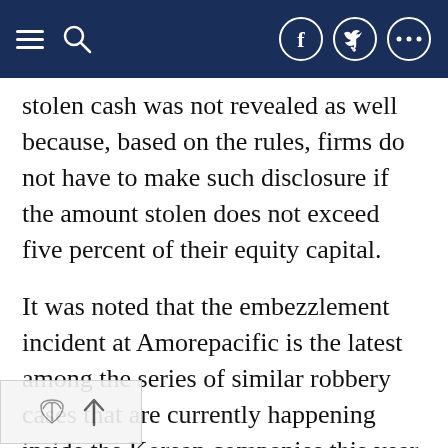Navigation bar with menu, search, Facebook, Twitter, and more icons
stolen cash was not revealed as well because, based on the rules, firms do not have to make such disclosure if the amount stolen does not exceed five percent of their equity capital.
It was noted that the embezzlement incident at Amorepacific is the latest among the series of similar robbery cases that are currently happening inside the Korean companies this year. In fact, just last week, a staff of Clio was arrested by the police for stealing around 1.8 billion won. The stealing was carried out in the span of one year.
The Clio employee was fired in March, but the company was not able to recover the money. It is trying to get the cash back, but this task has been proven difficult as the